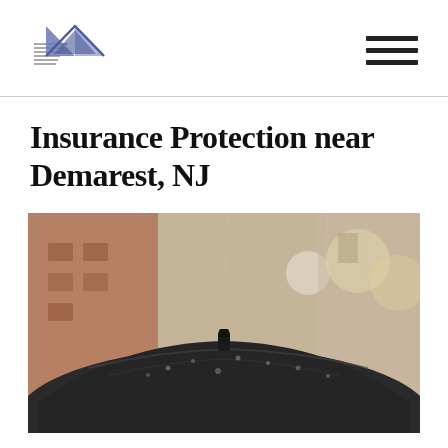[Figure (logo): Insurance company logo: stylized house/roof shape with diagonal lines in blue-grey tones]
[Figure (other): Hamburger/menu icon with three horizontal lines]
Insurance Protection near Demarest, NJ
[Figure (photo): Close-up photograph of a dark wet umbrella in rain, with blurred urban background including brick buildings and bokeh street lights]